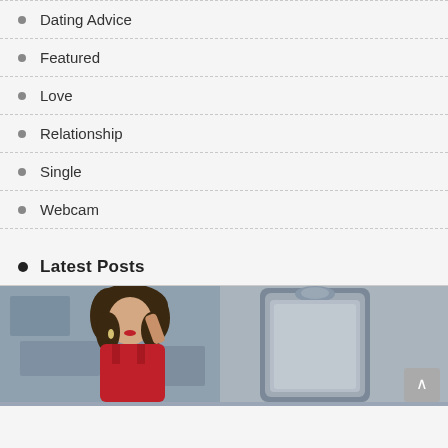Dating Advice
Featured
Love
Relationship
Single
Webcam
Latest Posts
[Figure (photo): A young woman with dark curly hair wearing a red dress, posing in front of an ornate silver mirror frame against a grey textured wall background]